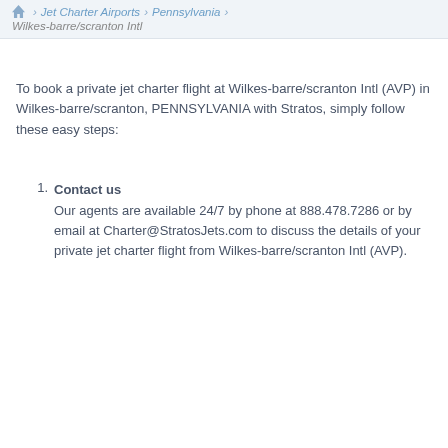Home > Jet Charter Airports > Pennsylvania > Wilkes-barre/scranton Intl
To book a private jet charter flight at Wilkes-barre/scranton Intl (AVP) in Wilkes-barre/scranton, PENNSYLVANIA with Stratos, simply follow these easy steps:
Contact us
Our agents are available 24/7 by phone at 888.478.7286 or by email at Charter@StratosJets.com to discuss the details of your private jet charter flight from Wilkes-barre/scranton Intl (AVP).